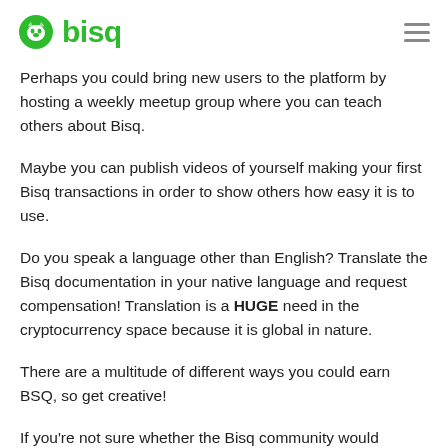bisq
Perhaps you could bring new users to the platform by hosting a weekly meetup group where you can teach others about Bisq.
Maybe you can publish videos of yourself making your first Bisq transactions in order to show others how easy it is to use.
Do you speak a language other than English? Translate the Bisq documentation in your native language and request compensation! Translation is a HUGE need in the cryptocurrency space because it is global in nature.
There are a multitude of different ways you could earn BSQ, so get creative!
If you're not sure whether the Bisq community would